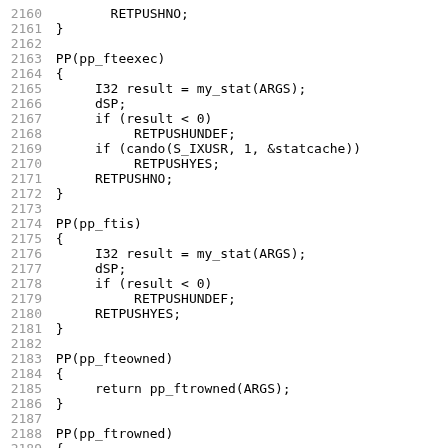[Figure (other): Source code listing lines 2160-2191, showing C/Perl code with PP macro functions pp_fteexec, pp_ftis, pp_fteowned, pp_ftrowned]